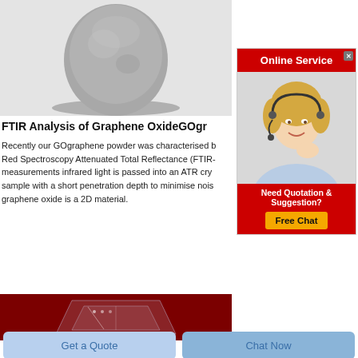[Figure (photo): Photo of graphene oxide GOgr powder in a rounded flask/container, gray metallic powder]
FTIR Analysis of Graphene OxideGOgr
Recently our GOgraphene powder was characterised by Fourier Transform Infra Red Spectroscopy Attenuated Total Reflectance (FTIR-ATR). For ATR measurements infrared light is passed into an ATR crystal which contacts the sample with a short penetration depth to minimise noise. This is ideal as graphene oxide is a 2D material.
[Figure (infographic): Online Service advertisement with red header, photo of woman with headset, Need Quotation & Suggestion Free Chat button]
[Figure (photo): Close-up photo of a transparent crystal or ATR crystal on dark red background]
Get a Quote
Chat Now